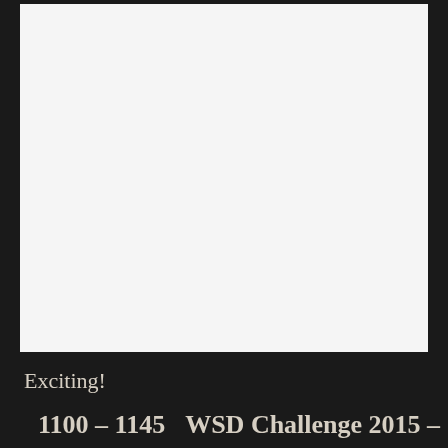[Figure (other): Large white/light grey rectangular area, likely containing an image or content above the visible portion of the page]
Exciting!
1100 – 1145     WSD Challenge 2015 –